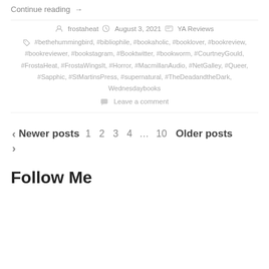Continue reading →
frostaheat   August 3, 2021   YA Reviews
#bethehummingbird, #bibliophile, #bookaholic, #booklover, #bookreview, #bookreviewer, #bookstagram, #Booktwitter, #bookworm, #CourtneyGould, #FrostaHeat, #FrostaWingsIt, #Horror, #MacmillanAudio, #NetGalley, #Queer, #Sapphic, #StMartinsPress, #supernatural, #TheDeadandtheDark, Wednesdaybooks
Leave a comment
‹ Newer posts  1  2  3  4  …  10  Older posts ›
Follow Me